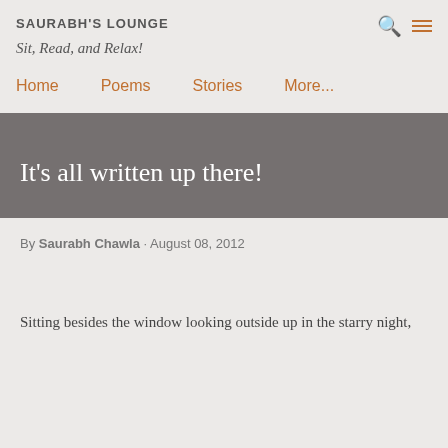SAURABH'S LOUNGE
Sit, Read, and Relax!
Home   Poems   Stories   More...
It's all written up there!
By Saurabh Chawla · August 08, 2012
Sitting besides the window looking outside up in the starry night,